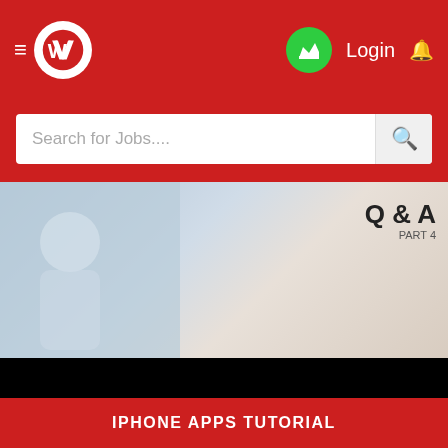[Figure (screenshot): Mobile app navigation bar with hamburger menu, circular logo (W), green crown button, Login text, and bell icon on red background]
[Figure (screenshot): Search bar with placeholder text 'Search for Jobs...' and magnifying glass button on red background]
[Figure (screenshot): Content feed showing a blurred book cover with 'Q & A' text, two black redacted bars, and a chiro image with '30 Most Compelling Chiropractor' text]
IPHONE APPS TUTORIAL